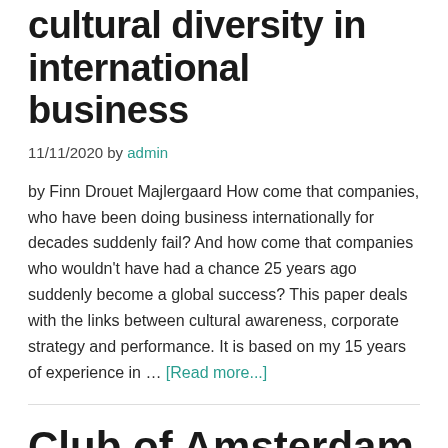cultural diversity in international business
11/11/2020 by admin
by Finn Drouet Majlergaard How come that companies, who have been doing business internationally for decades suddenly fail? And how come that companies who wouldn't have had a chance 25 years ago suddenly become a global success? This paper deals with the links between cultural awareness, corporate strategy and performance. It is based on my 15 years of experience in … [Read more...]
Club of Amsterdam